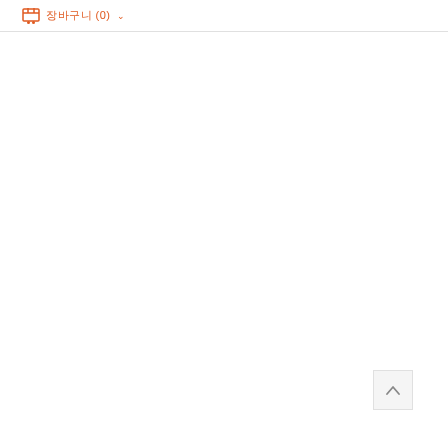장바구니 (0) ▾
[Figure (illustration): Back to top button with upward chevron arrow, positioned in lower right area of page]